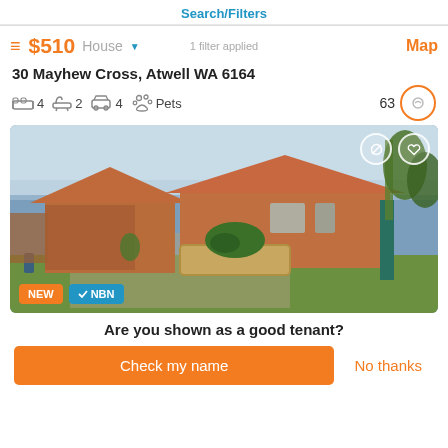Search/Filters
$510  House  1 filter applied  Map
30 Mayhew Cross, Atwell WA 6164
4 bedrooms  2 bathrooms  4 parking  Pets  63
[Figure (photo): Exterior photo of a brick house with terracotta tile roof, front garden with raised garden bed, lawn, and green fence. Badges: NEW and NBN.]
Are you shown as a good tenant?
Check my name
No thanks